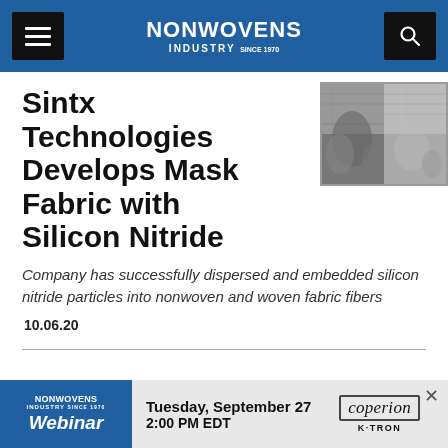NONWOVENS INDUSTRY
[Figure (photo): Black and white close-up photograph of fabric/textile fibers, showing nonwoven and woven fabric texture]
Sintx Technologies Develops Mask Fabric with Silicon Nitride
Company has successfully dispersed and embedded silicon nitride particles into nonwoven and woven fabric fibers
10.06.20
[Figure (screenshot): Advertisement banner for Nonwovens Industry Webinar: Tuesday, September 27, 2:00 PM EDT, sponsored by Coperion K-TRON]